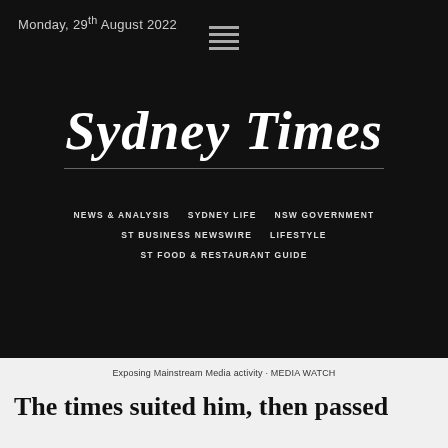Monday, 29th August 2022
[Figure (logo): Sydney Times newspaper logo in blackletter/Gothic font, white text on black background]
NEWS & ANALYSIS
SYDNEY LIFE
NSW GOVERNMENT
ST BUSINESS NEWSWIRE
LIFESTYLE
ST FOOD & RESTAURANT GUIDE
Exposing Mainstream Media activity · MEDIA WATCH
The times suited him, then passed